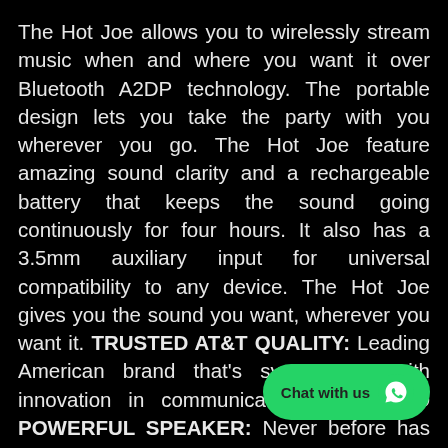The Hot Joe allows you to wirelessly stream music when and where you want it over Bluetooth A2DP technology. The portable design lets you take the party with you wherever you go. The Hot Joe feature amazing sound clarity and a rechargeable battery that keeps the sound going continuously for four hours. It also has a 3.5mm auxiliary input for universal compatibility to any device. The Hot Joe gives you the sound you want, wherever you want it. TRUSTED AT&T QUALITY: Leading American brand that's synonymous with innovation in communications MINI AND POWERFUL SPEAKER: Never before has such crystal-clear sound come from something so small! With the form factor of a small cup of joe, the stylish, ultra-compact Hot Joe speaker delivers crystal-clear, amplified stereo sound for you.